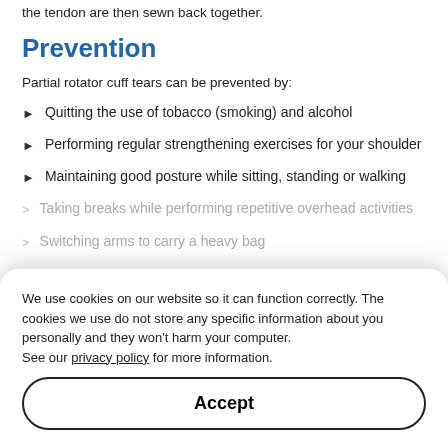the tendon are then sewn back together.
Prevention
Partial rotator cuff tears can be prevented by:
Quitting the use of tobacco (smoking) and alcohol
Performing regular strengthening exercises for your shoulder
Maintaining good posture while sitting, standing or walking
Taking breaks while performing repetitive overhead activities
Switching arms to carry a heavy bag
We use cookies on our website so it can function correctly. The cookies we use do not store any specific information about you personally and they won't harm your computer.
See our privacy policy for more information.
Accept